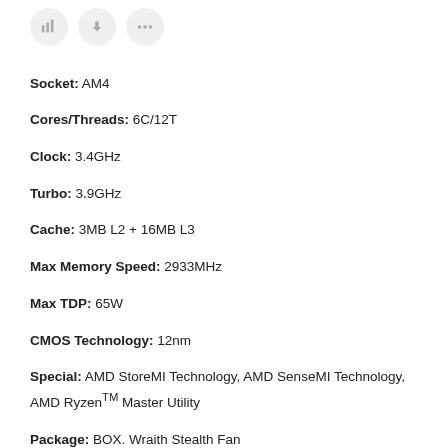[Figure (screenshot): Three circular icon buttons (bar chart, heart/down arrow, dots/share) at top of page]
Socket: AM4
Cores/Threads: 6C/12T
Clock: 3.4GHz
Turbo: 3.9GHz
Cache: 3MB L2 + 16MB L3
Max Memory Speed: 2933MHz
Max TDP: 65W
CMOS Technology: 12nm
Special: AMD StoreMI Technology, AMD SenseMI Technology, AMD Ryzen™ Master Utility
Package: BOX. Wraith Stealth Fan
[Figure (photo): AMD product box with dark grey and orange gradient design, AMD logo visible at top left, bottom portion of page]
[Figure (screenshot): Chat widget: bubble saying 'Kontaktoni ktu!', blue chat button with ellipsis dots, notification badge showing 1, scroll-to-top button]